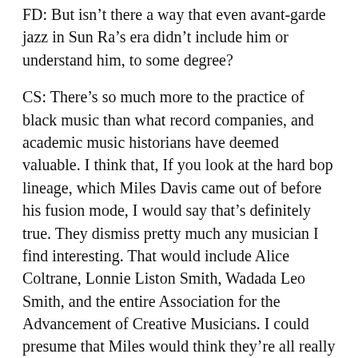FD: But isn't there a way that even avant-garde jazz in Sun Ra's era didn't include him or understand him, to some degree?
CS: There's so much more to the practice of black music than what record companies, and academic music historians have deemed valuable. I think that, If you look at the hard bop lineage, which Miles Davis came out of before his fusion mode, I would say that's definitely true. They dismiss pretty much any musician I find interesting. That would include Alice Coltrane, Lonnie Liston Smith, Wadada Leo Smith, and the entire Association for the Advancement of Creative Musicians. I could presume that Miles would think they're all really sad because they're not rich and successful like him. And they're not doing this super macho jazz thing. I mean, jazz has always been super hetero, performative, homophobic,